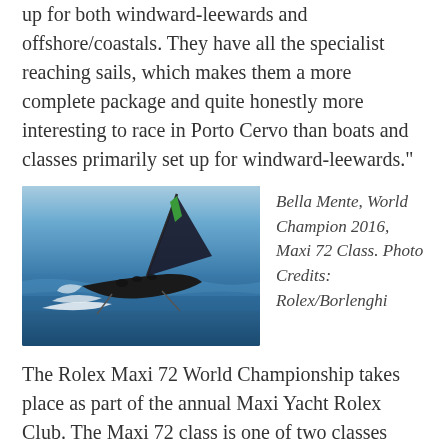up for both windward-leewards and offshore/coastals. They have all the specialist reaching sails, which makes them a more complete package and quite honestly more interesting to race in Porto Cervo than boats and classes primarily set up for windward-leewards."
[Figure (photo): A Maxi 72 racing sailboat heeling sharply on blue ocean water, with large dark sails up including a green-striped mainsail, spray visible, crew on deck.]
Bella Mente, World Champion 2016, Maxi 72 Class. Photo Credits: Rolex/Borlenghi
The Rolex Maxi 72 World Championship takes place as part of the annual Maxi Yacht Rolex Club. The Maxi 72 class is one of two classes affiliated to the International Maxi Association along with the I